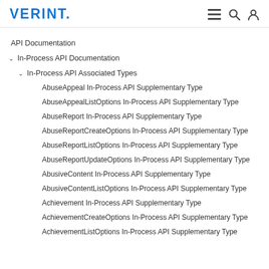VERINT.
API Documentation
∨ In-Process API Documentation
∨ In-Process API Associated Types
AbuseAppeal In-Process API Supplementary Type
AbuseAppealListOptions In-Process API Supplementary Type
AbuseReport In-Process API Supplementary Type
AbuseReportCreateOptions In-Process API Supplementary Type
AbuseReportListOptions In-Process API Supplementary Type
AbuseReportUpdateOptions In-Process API Supplementary Type
AbusiveContent In-Process API Supplementary Type
AbusiveContentListOptions In-Process API Supplementary Type
Achievement In-Process API Supplementary Type
AchievementCreateOptions In-Process API Supplementary Type
AchievementListOptions In-Process API Supplementary Type